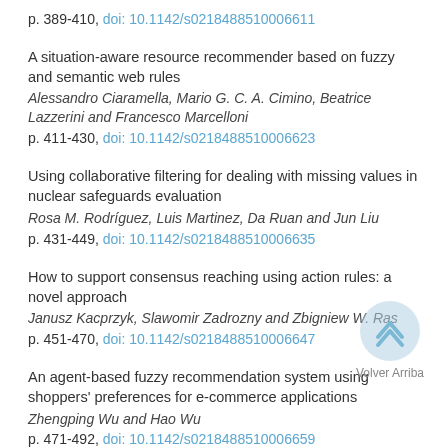p. 389-410, doi: 10.1142/s0218488510006611
A situation-aware resource recommender based on fuzzy and semantic web rules
Alessandro Ciaramella, Mario G. C. A. Cimino, Beatrice Lazzerini and Francesco Marcelloni
p. 411-430, doi: 10.1142/s0218488510006623
Using collaborative filtering for dealing with missing values in nuclear safeguards evaluation
Rosa M. Rodríguez, Luis Martinez, Da Ruan and Jun Liu
p. 431-449, doi: 10.1142/s0218488510006635
How to support consensus reaching using action rules: a novel approach
Janusz Kacprzyk, Slawomir Zadrozny and Zbigniew W. Ras
p. 451-470, doi: 10.1142/s0218488510006647
An agent-based fuzzy recommendation system using shoppers' preferences for e-commerce applications
Zhengping Wu and Hao Wu
p. 471-492, doi: 10.1142/s0218488510006659